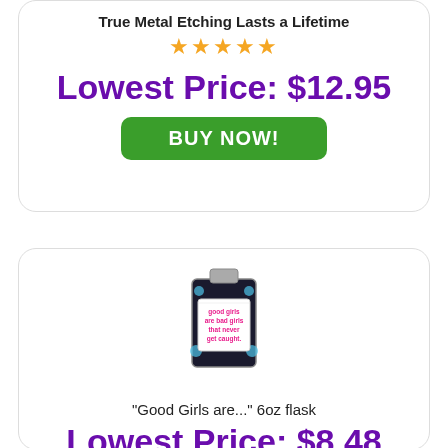True Metal Etching Lasts a Lifetime
[Figure (other): Five gold star rating]
Lowest Price: $12.95
BUY NOW!
[Figure (photo): Photo of 'Good Girls are bad girls that never get caught' 6oz flask with black and blue design]
"Good Girls are..." 6oz flask
Lowest Price: $8.48
BUY NOW!